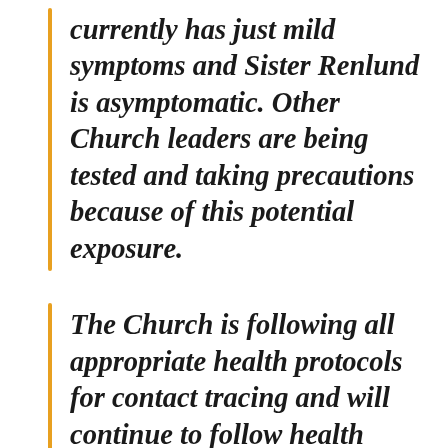currently has just mild symptoms and Sister Renlund is asymptomatic. Other Church leaders are being tested and taking precautions because of this potential exposure.
The Church is following all appropriate health protocols for contact tracing and will continue to follow health guidelines for this virus to